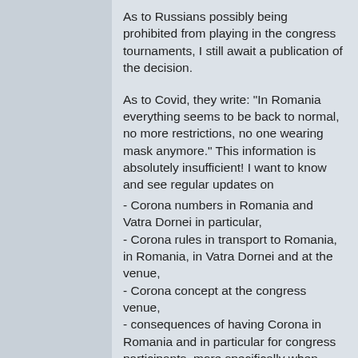As to Russians possibly being prohibited from playing in the congress tournaments, I still await a publication of the decision.
As to Covid, they write: "In Romania everything seems to be back to normal, no more restrictions, no one wearing mask anymore." This information is absolutely insufficient! I want to know and see regular updates on
- Corona numbers in Romania and Vatra Dornei in particular,
- Corona rules in transport to Romania, in Romania, in Vatra Dornei and at the venue,
- Corona concept at the congress venue,
- consequences of having Corona in Romania and in particular for congress participants, more specifically when sharing rooms,
- medical treatment in Romania and